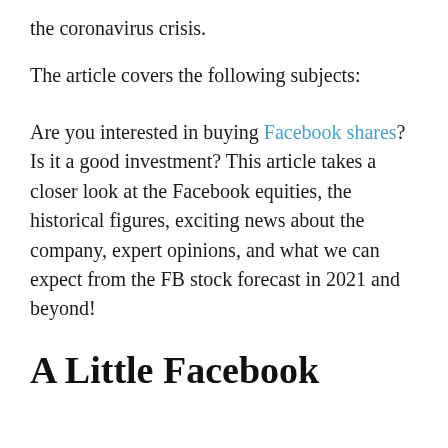the coronavirus crisis.
The article covers the following subjects:
Are you interested in buying Facebook shares? Is it a good investment? This article takes a closer look at the Facebook equities, the historical figures, exciting news about the company, expert opinions, and what we can expect from the FB stock forecast in 2021 and beyond!
A Little Facebook